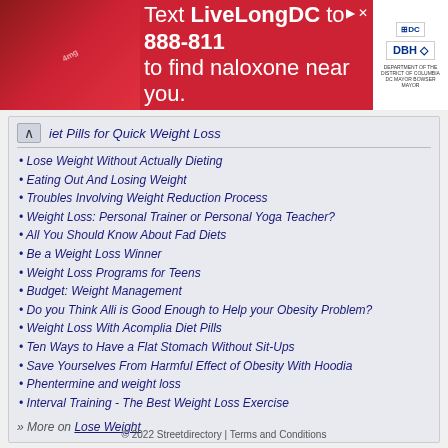[Figure (infographic): Red advertisement banner: Text LiveLongDC to 888-811 to find naloxone near you. DC and DHH logos on right.]
Diet Pills for Quick Weight Loss
Lose Weight Without Actually Dieting
Eating Out And Losing Weight
Troubles Involving Weight Reduction Process
Weight Loss: Personal Trainer or Personal Yoga Teacher?
All You Should Know About Fad Diets
Be a Weight Loss Winner
Weight Loss Programs for Teens
Budget: Weight Management
Do you Think Alli is Good Enough to Help your Obesity Problem?
Weight Loss With Acomplia Diet Pills
Ten Ways to Have a Flat Stomach Without Sit-Ups
Save Yourselves From Harmful Effect of Obesity With Hoodia
Phentermine and weight loss
Interval Training - The Best Weight Loss Exercise
» More on Lose Weight
© 2022 Streetdirectory | Terms and Conditions